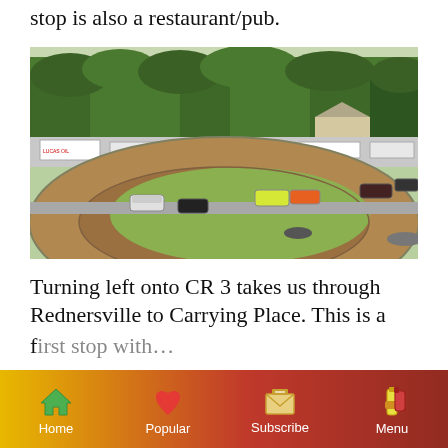stop is also a restaurant/pub.
[Figure (photo): Aerial view of a dirt oval racing track with multiple stock cars racing, surrounded by trees and advertising banners including Lucas Oil, with a crowd of spectators visible]
Turning left onto CR 3 takes us through Rednersville to Carrying Place. This is a
Home  Popular  Subscribe  Menu